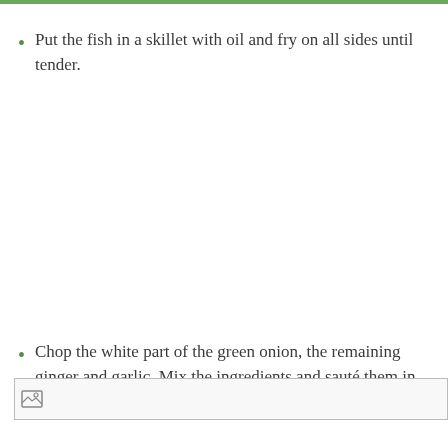Put the fish in a skillet with oil and fry on all sides until tender.
Chop the white part of the green onion, the remaining ginger and garlic. Mix the ingredients and sauté them in oil. Add fish and tofu.
[Figure (photo): Broken/missing image placeholder at the bottom of the page]